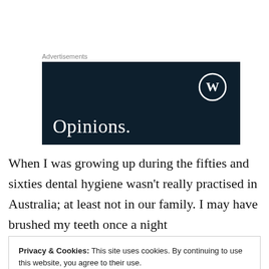Advertisements
[Figure (illustration): Dark navy blue advertisement banner with WordPress logo (circle with W) in top right and the word 'Opinions.' in large white serif font at bottom left.]
When I was growing up during the fifties and sixties dental hygiene wasn't really practised in Australia; at least not in our family. I may have brushed my teeth once a night
Privacy & Cookies: This site uses cookies. By continuing to use this website, you agree to their use.
To find out more, including how to control cookies, see here: Cookie Policy
Close and accept